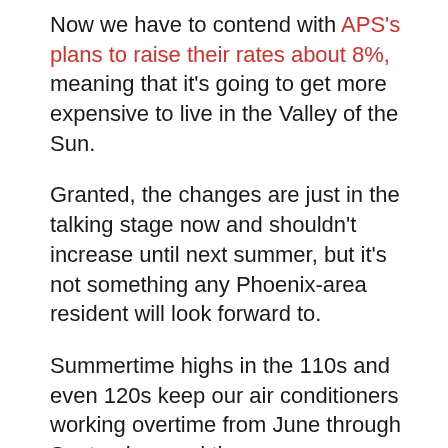Now we have to contend with APS's plans to raise their rates about 8%, meaning that it's going to get more expensive to live in the Valley of the Sun.
Granted, the changes are just in the talking stage now and shouldn't increase until next summer, but it's not something any Phoenix-area resident will look forward to.
Summertime highs in the 110s and even 120s keep our air conditioners working overtime from June through September, and the monsoon season doesn't help matters.
Thankfully, there are some things you